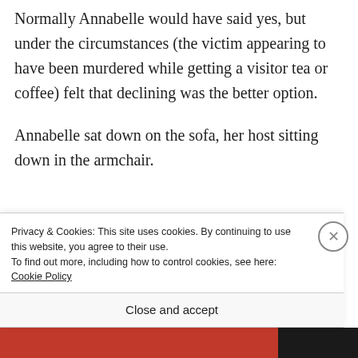Normally Annabelle would have said yes, but under the circumstances (the victim appearing to have been murdered while getting a visitor tea or coffee) felt that declining was the better option.
Annabelle sat down on the sofa, her host sitting down in the armchair.
Privacy & Cookies: This site uses cookies. By continuing to use this website, you agree to their use.
To find out more, including how to control cookies, see here: Cookie Policy
Close and accept